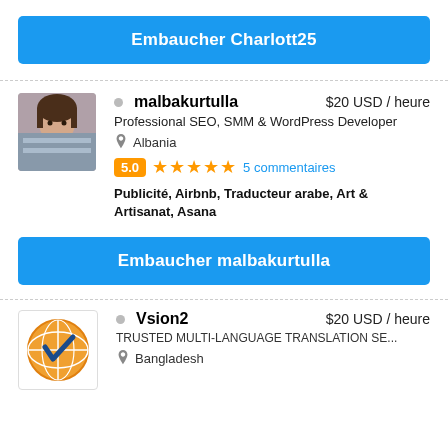Embaucher Charlott25
malbakurtulla   $20 USD / heure
Professional SEO, SMM & WordPress Developer
Albania
5.0 ★★★★★ 5 commentaires
Publicité, Airbnb, Traducteur arabe, Art & Artisanat, Asana
Embaucher malbakurtulla
Vsion2   $20 USD / heure
TRUSTED MULTI-LANGUAGE TRANSLATION SE...
Bangladesh